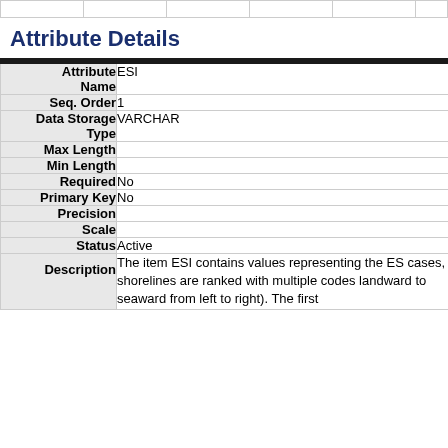|  |  |  |  |  |  |
Attribute Details
| Attribute Name |  |
| --- | --- |
| Attribute Name | ESI |
| Seq. Order | 1 |
| Data Storage Type | VARCHAR |
| Max Length |  |
| Min Length |  |
| Required | No |
| Primary Key | No |
| Precision |  |
| Scale |  |
| Status | Active |
| Description | The item ESI contains values representing the ES cases, shorelines are ranked with multiple codes landward to seaward from left to right). The first |